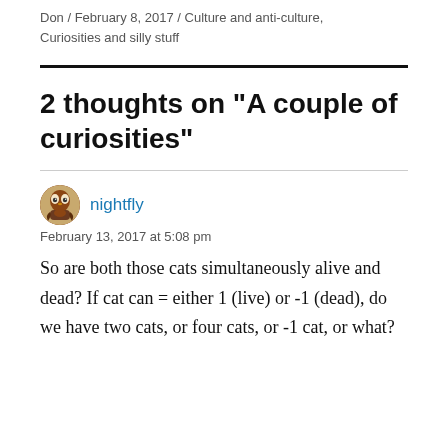Don / February 8, 2017 / Culture and anti-culture, Curiosities and silly stuff
2 thoughts on “A couple of curiosities”
nightfly
February 13, 2017 at 5:08 pm
So are both those cats simultaneously alive and dead? If cat can = either 1 (live) or -1 (dead), do we have two cats, or four cats, or -1 cat, or what?